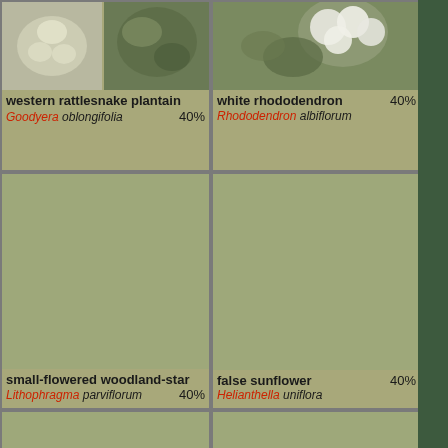[Figure (photo): Plant identification grid showing 6 plant species with photos and labels]
western rattlesnake plantain
Goodyera oblongifolia 40%
white rhododendron 40%
Rhododendron albiflorum
[Figure (photo): Empty placeholder for small-flowered woodland-star]
small-flowered woodland-star
Lithophragma parviflorum 40%
false sunflower 40%
Helianthella uniflora
[Figure (photo): Empty placeholder for tall cottongrass]
tall cottongrass 40%
Drummond's anemone 40%